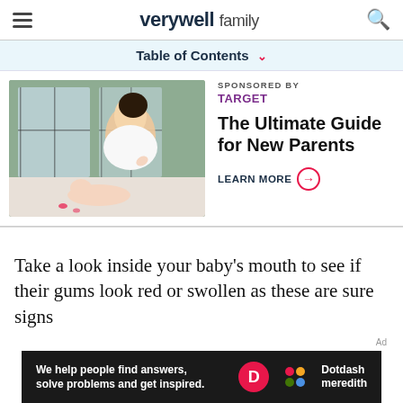verywell family
Table of Contents
[Figure (photo): Mother in white shirt kissing baby's foot on white surface, with large windows in background]
SPONSORED BY
TARGET
The Ultimate Guide for New Parents
LEARN MORE →
Take a look inside your baby's mouth to see if their gums look red or swollen as these are sure signs
We help people find answers, solve problems and get inspired. Dotdash meredith